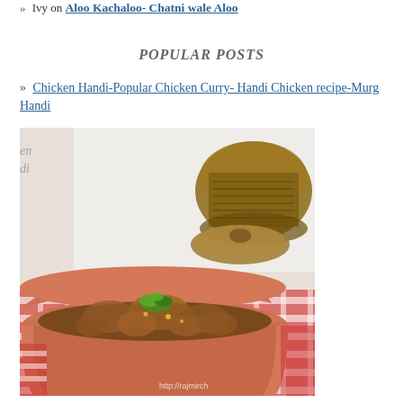» Ivy on Aloo Kachaloo- Chatni wale Aloo
POPULAR POSTS
» Chicken Handi-Popular Chicken Curry- Handi Chicken recipe-Murg Handi
[Figure (photo): Photo of Chicken Handi dish served in a terracotta clay pot on a red and white checkered cloth, garnished with green herbs, with wooden utensils in background. Watermark: http://rajmirch...]